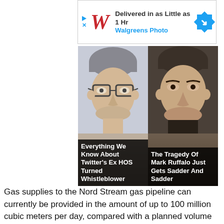[Figure (other): Walgreens Photo advertisement banner: 'Delivered in as Little as 1 Hr / Walgreens Photo' with Walgreens logo and navigation arrow icon]
[Figure (photo): Two headshot photos side by side. Left: a man with glasses and grey hair with caption 'Everything We Know About Twitter's Ex HOS Turned Whistleblower'. Right: a man (Mark Ruffalo) with caption 'The Tragedy Of Mark Ruffalo Just Gets Sadder And Sadder']
Gas supplies to the Nord Stream gas pipeline can currently be provided in the amount of up to 100 million cubic meters per day, compared with a planned volume of 167 million cubic meters per day, the Russian gas giant said.
The lower supply of gas via Nord Stream to the biggest European economy, Germany, sent Europe's gas prices surging by double digits on Tuesday, with the gas price at the Dutch TTF hub, the benchmark gas price for Europe, up by 13 percent and the UK gas prices rising by 11 percent